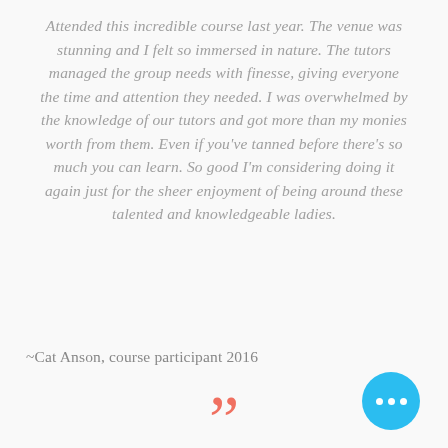Attended this incredible course last year. The venue was stunning and I felt so immersed in nature. The tutors managed the group needs with finesse, giving everyone the time and attention they needed. I was overwhelmed by the knowledge of our tutors and got more than my monies worth from them. Even if you've tanned before there's so much you can learn. So good I'm considering doing it again just for the sheer enjoyment of being around these talented and knowledgeable ladies.
~Cat Anson, course participant 2016
[Figure (illustration): Large red/coral closing quotation marks decorative element]
[Figure (illustration): Blue circle button with three white dots (ellipsis) in the bottom right corner]